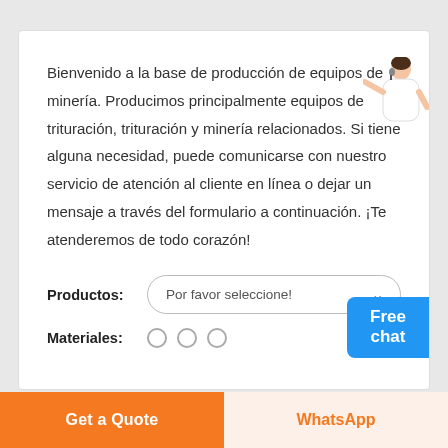Bienvenido a la base de producción de equipos de minería. Producimos principalmente equipos de trituración, trituración y minería relacionados. Si tiene alguna necesidad, puede comunicarse con nuestro servicio de atención al cliente en línea o dejar un mensaje a través del formulario a continuación. ¡Te atenderemos de todo corazón!
Productos: Por favor seleccione!
Materiales:
Get a Quote
WhatsApp